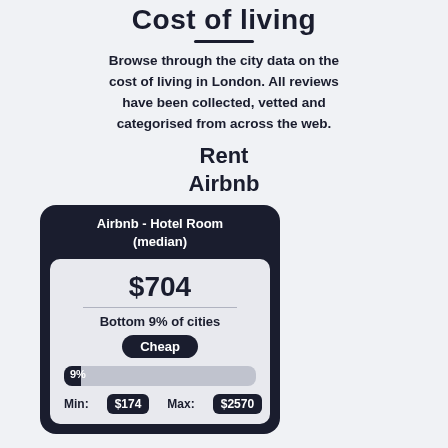Cost of living
Browse through the city data on the cost of living in London. All reviews have been collected, vetted and categorised from across the web.
Rent
Airbnb
[Figure (infographic): Card showing Airbnb Hotel Room (median) cost: $704, Bottom 9% of cities, labeled Cheap, with a progress bar at 9%, Min: $174, Max: $2570]